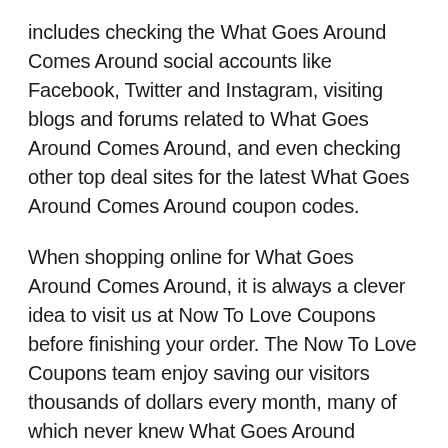includes checking the What Goes Around Comes Around social accounts like Facebook, Twitter and Instagram, visiting blogs and forums related to What Goes Around Comes Around, and even checking other top deal sites for the latest What Goes Around Comes Around coupon codes.
When shopping online for What Goes Around Comes Around, it is always a clever idea to visit us at Now To Love Coupons before finishing your order. The Now To Love Coupons team enjoy saving our visitors thousands of dollars every month, many of which never knew What Goes Around Comes Around discount codes were available until visiting our site. Now armed with the knowledge of how easy it is to save at What Goes Around Comes Around with our promo and coupon codes, bookmark Now To Love Coupons and always check us out before you checkout.